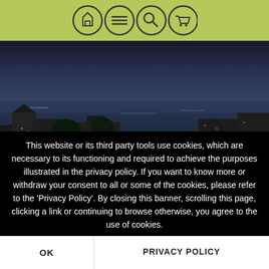Navigation icons: home, menu, search, cart
[Figure (photo): Aerial twilight view of a riverside European city with buildings, trees, and water]
[Figure (photo): Dark dragon statue silhouetted against a purple-blue dusk sky with wings spread]
This website or its third party tools use cookies, which are necessary to its functioning and required to achieve the purposes illustrated in the privacy policy. If you want to know more or withdraw your consent to all or some of the cookies, please refer to the 'Privacy Policy'. By closing this banner, scrolling this page, clicking a link or continuing to browse otherwise, you agree to the use of cookies.
OK
PRIVACY POLICY